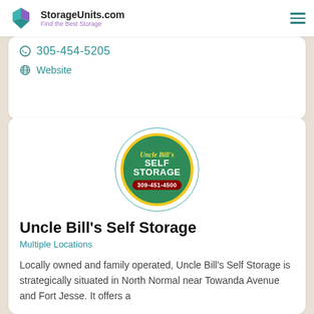StorageUnits.com — Find the Best Storage
305-454-5205
Website
[Figure (logo): Uncle Bill's Self Storage circular logo with green background, yellow border, cursive 'Uncle Bill's' text, bold white 'SELF STORAGE' text, and red phone number badge reading 309-451-4500]
Uncle Bill's Self Storage
Multiple Locations
Locally owned and family operated, Uncle Bill's Self Storage is strategically situated in North Normal near Towanda Avenue and Fort Jesse. It offers a